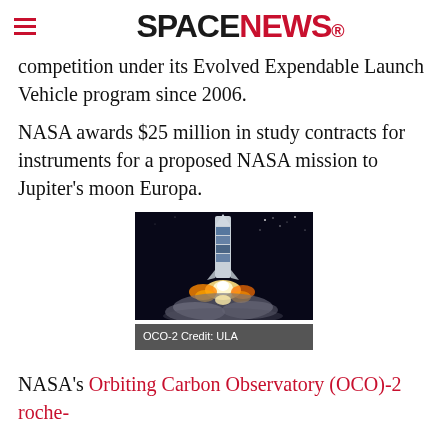SPACENEWS
competition under its Evolved Expendable Launch Vehicle program since 2006.
NASA awards $25 million in study contracts for instruments for a proposed NASA mission to Jupiter's moon Europa.
[Figure (photo): Rocket launch at night with bright engine flames and smoke, labeled OCO-2 launch vehicle]
OCO-2 Credit: ULA
NASA's Orbiting Carbon Observatory (OCO)-2 roche-